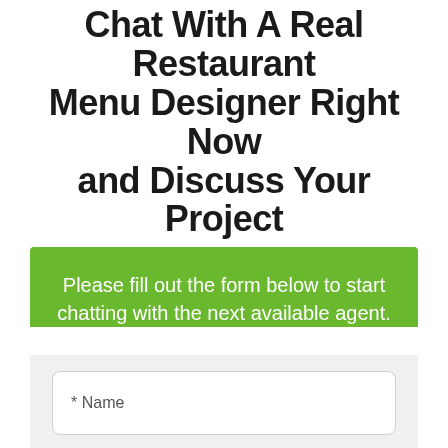Chat With A Real Restaurant Menu Designer Right Now and Discuss Your Project
Please fill out the form below to start chatting with the next available agent.
[Figure (screenshot): A web form with input fields for Name, Email, and Phone, displayed on a green background with a white form panel. A green chat bubble icon is visible at the bottom right.]